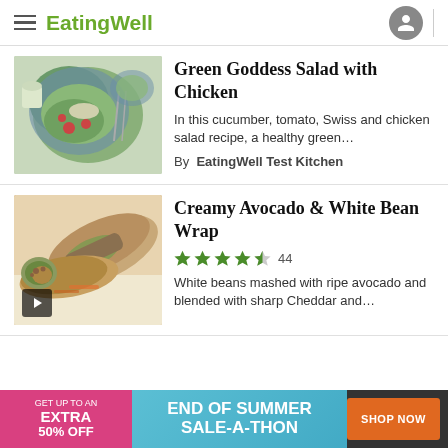EatingWell
[Figure (photo): Green Goddess Salad with Chicken on blue plates with tomatoes and greens]
Green Goddess Salad with Chicken
In this cucumber, tomato, Swiss and chicken salad recipe, a healthy green…
By EatingWell Test Kitchen
[Figure (photo): Creamy Avocado & White Bean Wrap cut in half showing filling]
Creamy Avocado & White Bean Wrap
★★★★½ 44
White beans mashed with ripe avocado and blended with sharp Cheddar and…
[Figure (infographic): Ad banner: GET UP TO AN EXTRA 50% OFF — END OF SUMMER SALE-A-THON — SHOP NOW]